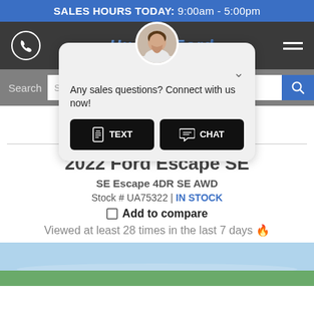SALES HOURS TODAY: 9:00am - 5:00pm
[Figure (screenshot): Dealership navigation bar with phone icon, logo, and hamburger menu on dark background]
[Figure (infographic): Chat popup with agent avatar, text 'Any sales questions? Connect with us now!' and TEXT and CHAT buttons]
[Figure (screenshot): Search bar with label 'Search', placeholder 'Search by Type, Year, Make, Model or Stock #', and blue search button]
[Figure (infographic): Share row with print icon, email icon, and Facebook Share button]
2022 Ford Escape SE
SE Escape 4DR SE AWD
Stock # UA75322 | IN STOCK
Add to compare
Viewed at least 28 times in the last 7 days 🔥
[Figure (photo): Partial view of 2022 Ford Escape SE vehicle photo with sky and trees background]